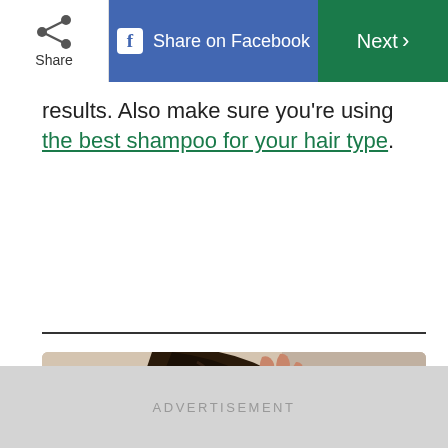Share | Share on Facebook | Next >
results. Also make sure you're using the best shampoo for your hair type.
[Figure (photo): Woman brushing her long dark hair with a red paddle brush, viewed from behind, with her reflection visible in a bathroom mirror]
ADVERTISEMENT